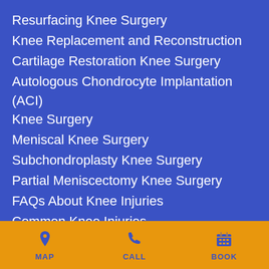Resurfacing Knee Surgery
Knee Replacement and Reconstruction
Cartilage Restoration Knee Surgery
Autologous Chondrocyte Implantation (ACI) Knee Surgery
Meniscal Knee Surgery
Subchondroplasty Knee Surgery
Partial Meniscectomy Knee Surgery
FAQs About Knee Injuries
Common Knee Injuries
MAP  CALL  BOOK